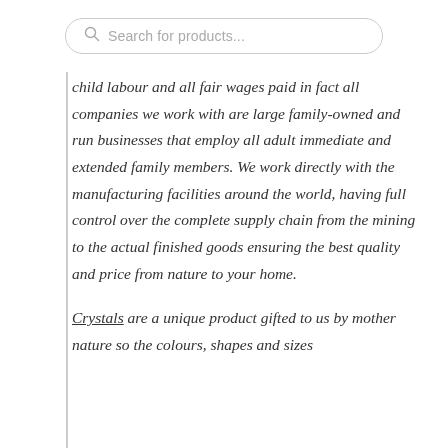[Figure (screenshot): Search bar with magnifying glass icon and placeholder text 'Search for products...']
child labour and all fair wages paid in fact all companies we work with are large family-owned and run businesses that employ all adult immediate and extended family members. We work directly with the manufacturing facilities around the world, having full control over the complete supply chain from the mining to the actual finished goods ensuring the best quality and price from nature to your home.
Crystals are a unique product gifted to us by mother nature so the colours, shapes and sizes